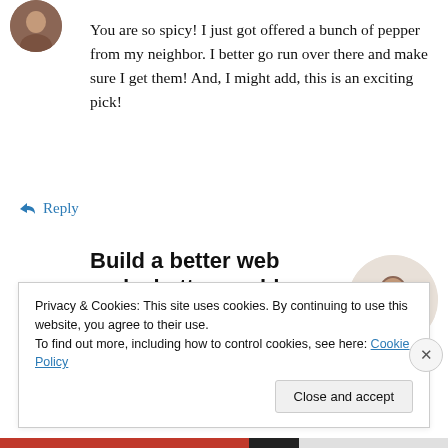[Figure (photo): Circular avatar photo of a person, top left corner]
You are so spicy! I just got offered a bunch of pepper from my neighbor. I better go run over there and make sure I get them! And, I might add, this is an exciting pick!
↵ Reply
Build a better web and a better world.
[Figure (photo): Circular photo of a person thinking, in the ad section]
Privacy & Cookies: This site uses cookies. By continuing to use this website, you agree to their use.
To find out more, including how to control cookies, see here: Cookie Policy
Close and accept